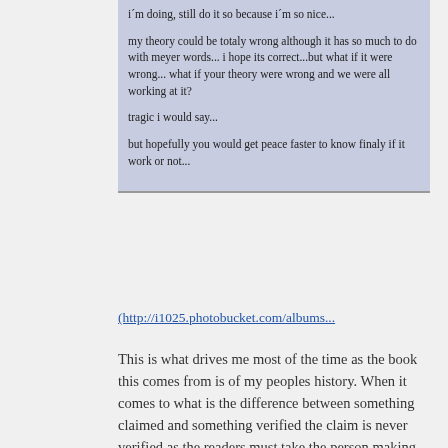i'm doing, still do it so because i'm so nice...

my theory could be totaly wrong although it has so much to do with meyer words... i hope its correct...but what if it were wrong... what if your theory were wrong and we were all working at it?

tragic i would say...

but hopefully you would get peace faster to know finaly if it work or not...
(http://i1025.photobucket.com/albums...
This is what drives me most of the time as the book this comes from is of my peoples history. When it comes to what is the difference between something claimed and something verified the claim is never verified as the readers must take the person making the claim(s) word for it.